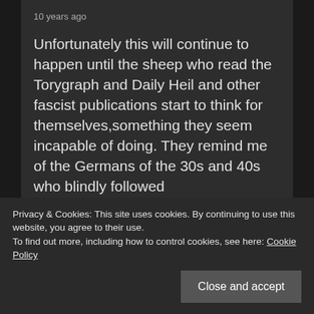10 years ago
Unfortunately this will continue to happen until the sheep who read the Torygraph and Daily Heil and other fascist publications start to think for themselves,something they seem incapable of doing. They remind me of the Germans of the 30s and 40s who blindly followed
Privacy & Cookies: This site uses cookies. By continuing to use this website, you agree to their use.
To find out more, including how to control cookies, see here: Cookie Policy
Close and accept